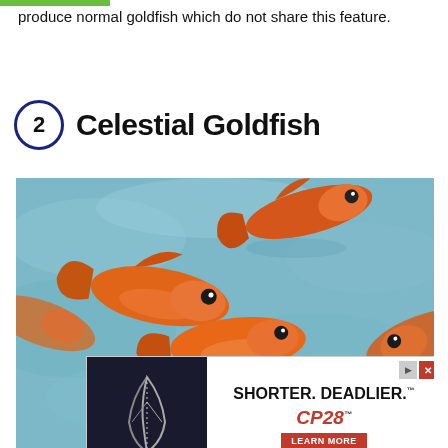produce normal goldfish which do not share this feature.
2 Celestial Goldfish
[Figure (photo): Photograph of several orange celestial goldfish swimming in blue-tinted water, showing their characteristic upward-pointing eyes. An advertisement for Bowtech CP28 crossbow ('Shorter. Deadlier.') overlays the lower portion of the image.]